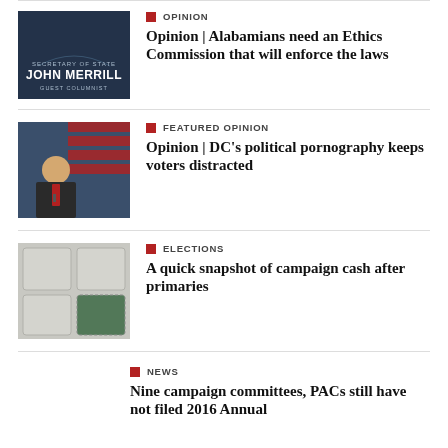[Figure (photo): Photo of Secretary of State John Merrill with text overlay on dark background]
OPINION
Opinion | Alabamians need an Ethics Commission that will enforce the laws
[Figure (photo): Photo of Donald Trump speaking at podium in front of American flag]
FEATURED OPINION
Opinion | DC's political pornography keeps voters distracted
[Figure (photo): Photo of puzzle pieces with missing piece revealing green underneath]
ELECTIONS
A quick snapshot of campaign cash after primaries
NEWS
Nine campaign committees, PACs still have not filed 2016 Annual